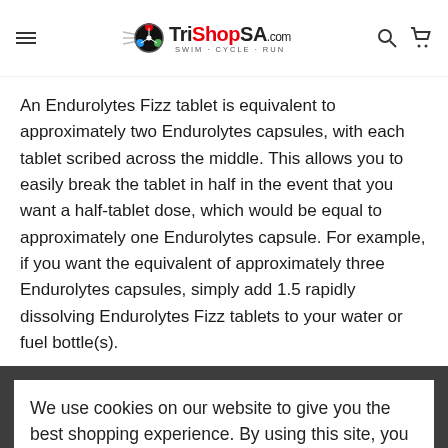TriShopSA.com SWIM · CYCLE · RUN
An Endurolytes Fizz tablet is equivalent to approximately two Endurolytes capsules, with each tablet scribed across the middle. This allows you to easily break the tablet in half in the event that you want a half-tablet dose, which would be equal to approximately one Endurolytes capsule. For example, if you want the equivalent of approximately three Endurolytes capsules, simply add 1.5 rapidly dissolving Endurolytes Fizz tablets to your water or fuel bottle(s).
Endurolytes Fizz is economical as well, with 13 effervescent tablets per tube costing less than most other products. Unlike other companies' electrolyte products, Hammer Nutrition doesn't add consequential amounts of vitamins or other nutrients, which only serve to increase the price. Instead, you get the full spectrum electrolytic minerals that you need, along with adequate amounts of auxiliary nutrients, just like you do
We use cookies on our website to give you the best shopping experience. By using this site, you agree to its use of cookies.
I agree